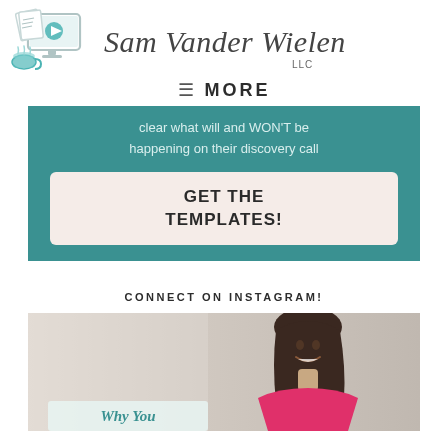[Figure (logo): Sam Vander Wielen LLC logo with illustrated computer monitor showing a play button, papers, and a coffee cup beside it, with cursive signature text 'Sam Vander Wielen LLC']
≡ MORE
clear what will and WON'T be happening on their discovery call
GET THE TEMPLATES!
CONNECT ON INSTAGRAM!
[Figure (photo): Woman with dark hair smiling, wearing a pink top. Partial text overlay reads 'Why You' at the bottom.]